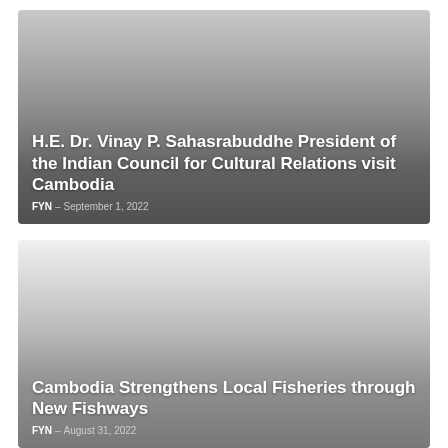[Figure (photo): News article card with dark gradient background overlay. Article about H.E. Dr. Vinay P. Sahasrabuddhe President of the Indian Council for Cultural Relations visit Cambodia.]
H.E. Dr. Vinay P. Sahasrabuddhe President of the Indian Council for Cultural Relations visit Cambodia
FYN – September 1, 2022
[Figure (photo): News article card with light-to-dark gradient background overlay. Article about Cambodia Strengthens Local Fisheries through New Fishways.]
Cambodia Strengthens Local Fisheries through New Fishways
FYN – August 31, 2022